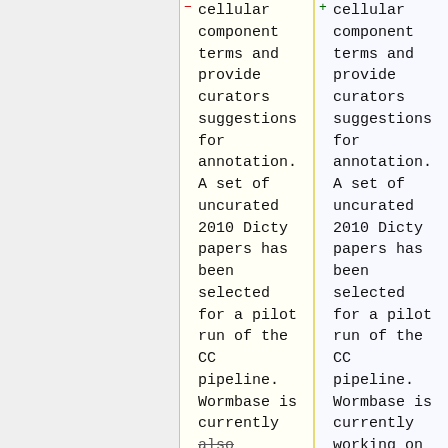− cellular component terms and provide curators suggestions for annotation. A set of uncurated 2010 Dicty papers has been selected for a pilot run of the CC pipeline. Wormbase is currently also working on
+ cellular component terms and provide curators suggestions for annotation. A set of uncurated 2010 Dicty papers has been selected for a pilot run of the CC pipeline. Wormbase is currently working on 'cloning'